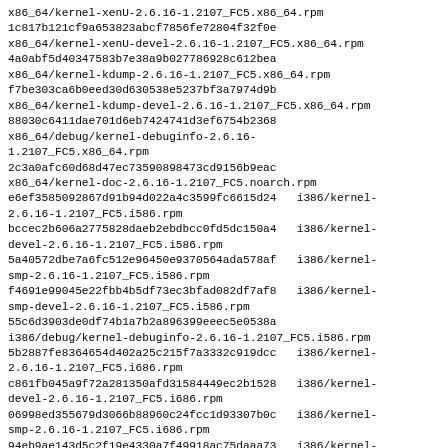x86_64/kernel-xenU-2.6.16-1.2107_FC5.x86_64.rpm
1c817b121cf9a653823abcf7856fe72804f32f0e
x86_64/kernel-xenU-devel-2.6.16-1.2107_FC5.x86_64.rpm
4a0abf5d40347583b7e38a9b027786928c612bea
x86_64/kernel-kdump-2.6.16-1.2107_FC5.x86_64.rpm
f7be303ca6b0eed30d630538e5237bf3a7974d9b
x86_64/kernel-kdump-devel-2.6.16-1.2107_FC5.x86_64.rpm
88030c6411dae701d6eb7424741d3ef6754b2368
x86_64/debug/kernel-debuginfo-2.6.16-1.2107_FC5.x86_64.rpm
2c3a0afc60d68d47ec73590898473cd9156b9eac
x86_64/kernel-doc-2.6.16-1.2107_FC5.noarch.rpm
e6ef3585092867d91b94d022a4c3599fc6615d24   i386/kernel-2.6.16-1.2107_FC5.i586.rpm
bccec2b606a2775828daeb2ebdbcc0fd5dc150a4   i386/kernel-devel-2.6.16-1.2107_FC5.i586.rpm
5a40572dbe7a6fc512e96450e9370564ada578af   i386/kernel-smp-2.6.16-1.2107_FC5.i586.rpm
f4691e99045e22fbb4b5df73ec3bfad082df7af8   i386/kernel-smp-devel-2.6.16-1.2107_FC5.i586.rpm
55c6d3903de0df74b1a7b2a896399eeec5e0538a
i386/debug/kernel-debuginfo-2.6.16-1.2107_FC5.i586.rpm
5b2887fe8364654d402a25c215f7a3332c919dcc   i386/kernel-2.6.16-1.2107_FC5.i686.rpm
c861fb045a9f72a281350afd31584449ec2b1528   i386/kernel-devel-2.6.16-1.2107_FC5.i686.rpm
06998ed355679d3066b88960c24fcc1d93307b0c   i386/kernel-smp-2.6.16-1.2107_FC5.i686.rpm
94eb9ae143d5c2f19e4330a7f49918ac75daaa73   i386/kernel-smp-devel-2.6.16-1.2107_FC5.i686.rpm
df6a27c970436ab10d0b1d602897b146ab5c1bf7   i386/kernel-